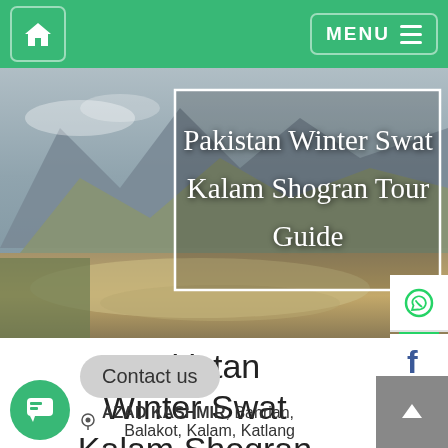Home | MENU
[Figure (photo): Landscape photo of Swat valley with mountains, river, and text overlay reading 'Pakistan Winter Swat Kalam Shogran Tour Guide']
Pakistan Winter Swat Kalam Shogran Tour Guide
Contact us
AZAD KASHMIR, Bahrian, Balakot, Kalam, Katlang